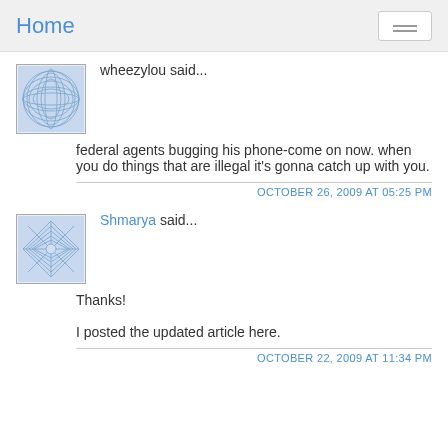Home
wheezylou said...
federal agents bugging his phone-come on now. when you do things that are illegal it's gonna catch up with you.
OCTOBER 26, 2009 AT 05:25 PM
Shmarya said...
Thanks!
I posted the updated article here.
OCTOBER 22, 2009 AT 11:34 PM